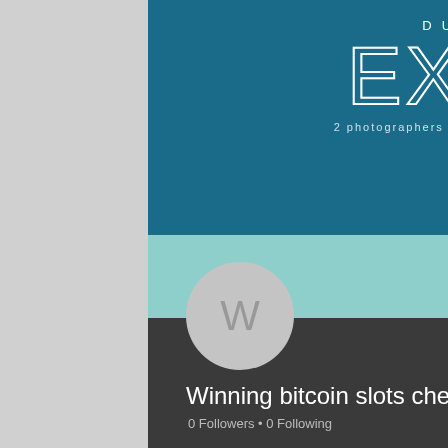[Figure (screenshot): Google+ or social media profile page screenshot. Top dark teal banner with 'DUPLA EXPO' logo and tagline '2 photographers - 2 visions - 1 wedding'. Middle light teal strip with avatar circle showing W and Follow button. Bottom dark strip with profile name 'Winning bitcoin slots cheats' and '0 Followers • 0 Following'.]
Winning bitcoin slots cheats
0 Followers • 0 Following